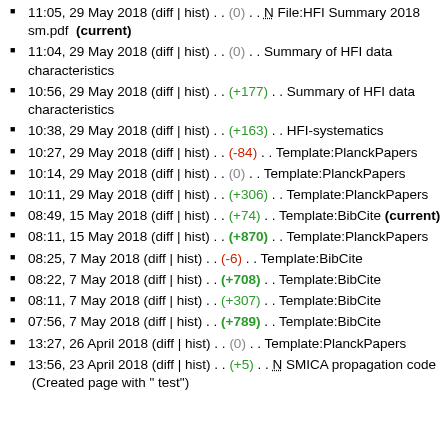11:05, 29 May 2018 (diff | hist) . . (0) . . N File:HFI Summary 2018 sm.pdf (current)
11:04, 29 May 2018 (diff | hist) . . (0) . . Summary of HFI data characteristics
10:56, 29 May 2018 (diff | hist) . . (+177) . . Summary of HFI data characteristics
10:38, 29 May 2018 (diff | hist) . . (+163) . . HFI-systematics
10:27, 29 May 2018 (diff | hist) . . (-84) . . Template:PlanckPapers
10:14, 29 May 2018 (diff | hist) . . (0) . . Template:PlanckPapers
10:11, 29 May 2018 (diff | hist) . . (+306) . . Template:PlanckPapers
08:49, 15 May 2018 (diff | hist) . . (+74) . . Template:BibCite (current)
08:11, 15 May 2018 (diff | hist) . . (+870) . . Template:PlanckPapers
08:25, 7 May 2018 (diff | hist) . . (-6) . . Template:BibCite
08:22, 7 May 2018 (diff | hist) . . (+708) . . Template:BibCite
08:11, 7 May 2018 (diff | hist) . . (+307) . . Template:BibCite
07:56, 7 May 2018 (diff | hist) . . (+789) . . Template:BibCite
13:27, 26 April 2018 (diff | hist) . . (0) . . Template:PlanckPapers
13:56, 23 April 2018 (diff | hist) . . (+5) . . N SMICA propagation code (Created page with " test")